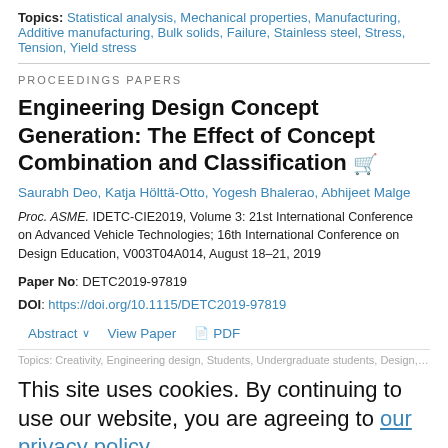Topics: Statistical analysis, Mechanical properties, Manufacturing, Additive manufacturing, Bulk solids, Failure, Stainless steel, Stress, Tension, Yield stress
PROCEEDINGS PAPERS
Engineering Design Concept Generation: The Effect of Concept Combination and Classification
Saurabh Deo, Katja Hölttä-Otto, Yogesh Bhalerao, Abhijeet Malge
Proc. ASME. IDETC-CIE2019, Volume 3: 21st International Conference on Advanced Vehicle Technologies; 16th International Conference on Design Education, V003T04A014, August 18–21, 2019
Paper No: DETC2019-97819
DOI: https://doi.org/10.1115/DETC2019-97819
Abstract  View Paper  PDF
Topics: Creativity, Engineering design, Students, Undergraduate students, Design, Entities, Classification, Innovation, Statistical analysis
This site uses cookies. By continuing to use our website, you are agreeing to our privacy policy. Accept
Word-of-Mouth Recommendations in an Automobile